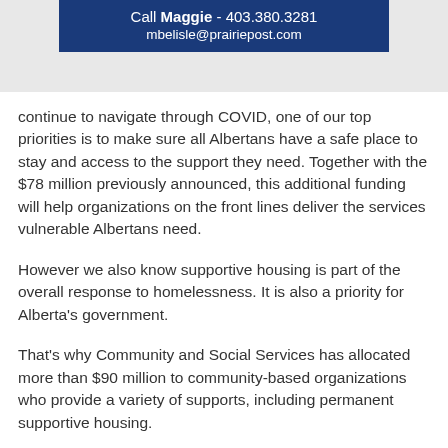[Figure (other): Dark blue banner with white text: 'Call Maggie - 403.380.3281' and 'mbelisle@prairiepost.com']
continue to navigate through COVID, one of our top priorities is to make sure all Albertans have a safe place to stay and access to the support they need. Together with the $78 million previously announced, this additional funding will help organizations on the front lines deliver the services vulnerable Albertans need.
However we also know supportive housing is part of the overall response to homelessness. It is also a priority for Alberta's government.
That's why Community and Social Services has allocated more than $90 million to community-based organizations who provide a variety of supports, including permanent supportive housing.
I'm happy to report that our community partners have helped move more than 3,400 people into housing since